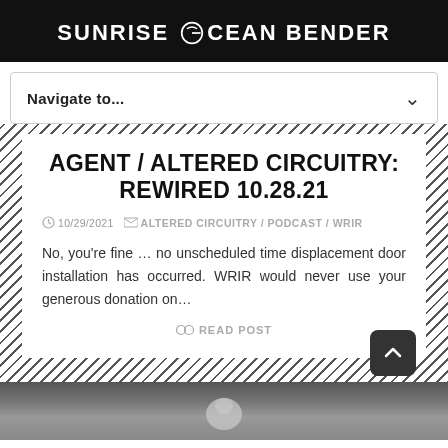SUNRISE OCEAN BENDER
Navigate to...
AGENT / ALTERED CIRCUITRY: REWIRED 10.28.21
10/29/2021   ALTERED CIRCUITRY / PODCAST / WRIR
No, you're fine … no unscheduled time displacement door installation has occurred. WRIR would never use your generous donation on…
READ POST